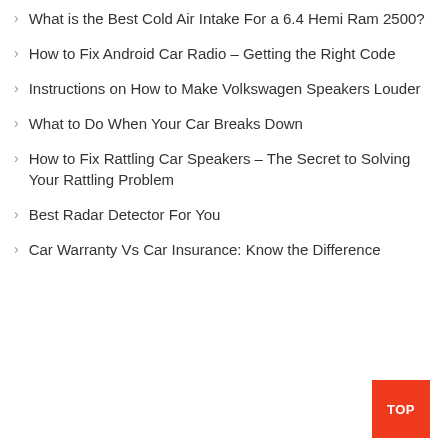What is the Best Cold Air Intake For a 6.4 Hemi Ram 2500?
How to Fix Android Car Radio – Getting the Right Code
Instructions on How to Make Volkswagen Speakers Louder
What to Do When Your Car Breaks Down
How to Fix Rattling Car Speakers – The Secret to Solving Your Rattling Problem
Best Radar Detector For You
Car Warranty Vs Car Insurance: Know the Difference